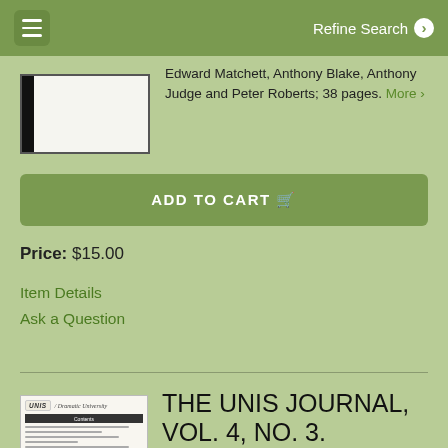Refine Search
Edward Matchett, Anthony Blake, Anthony Judge and Peter Roberts; 38 pages. More ›
ADD TO CART
Price: $15.00
Item Details
Ask a Question
THE UNIS JOURNAL, VOL. 4, NO. 3.
Kuchinsky, Saul (ed.).
Bridgewater: Unis Institute, 1993. 8 1/2 X 11 with taped binding; Contributors include J.G.